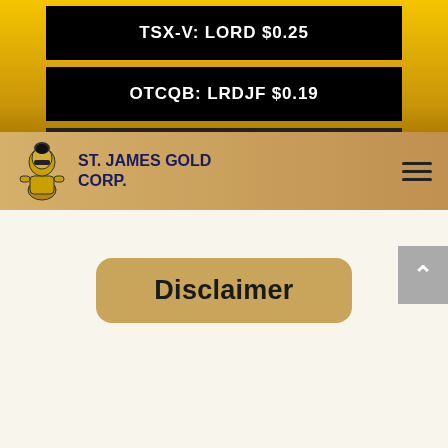TSX-V: LORD $0.25
OTCQB: LRDJF $0.19
[Figure (logo): St. James Gold Corp. logo with knight figure and company name]
Disclaimer